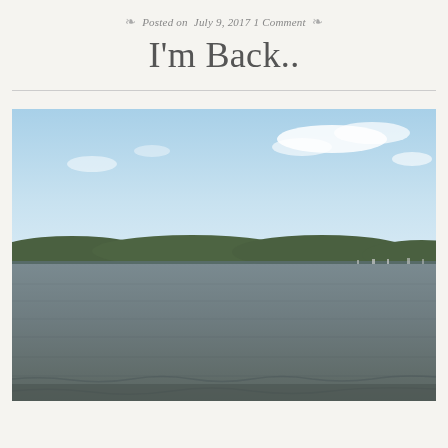Posted on July 9, 2017 1 Comment
I'm Back..
[Figure (photo): Outdoor photograph of a wide river or lake under a blue sky with scattered clouds. In the middle distance, a tree-covered hillside and shoreline is visible with boats moored near the far bank. The water in the foreground is choppy with small waves, colored a dark grayish-brown.]